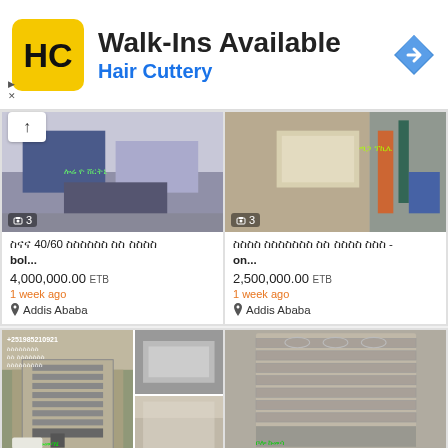[Figure (infographic): Hair Cuttery advertisement banner with logo, Walk-Ins Available text, and navigation arrow icon]
[Figure (photo): Kitchen interior photo with blue cabinets and white countertop, photo count badge showing 3]
አዲስ 40/60 ኮንዶሚኒየም ዩ ቤቶች bol...
4,000,000.00 ETB
1 week ago
Addis Ababa
[Figure (photo): Room interior with window and water storage barrel, photo count badge showing 3]
ጥሩ ኮንዶሚኒየም ዩ ቤቶች ኪራይ - on...
2,500,000.00 ETB
1 week ago
Addis Ababa
[Figure (photo): Building under construction collage with contact phone number +251985210821 and Amharic text]
[Figure (photo): Multi-story concrete building exterior photo]